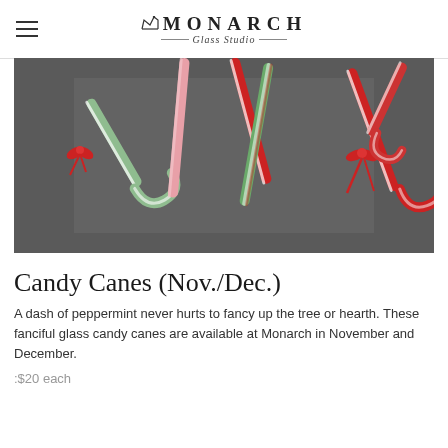Monarch Glass Studio
[Figure (photo): Overhead photo of multiple colorful glass candy canes with red bows arranged on a dark gray background. Colors include green, pink, red and white striped candy canes.]
Candy Canes (Nov./Dec.)
A dash of peppermint never hurts to fancy up the tree or hearth. These fanciful glass candy canes are available at Monarch in November and December.
:$20 each